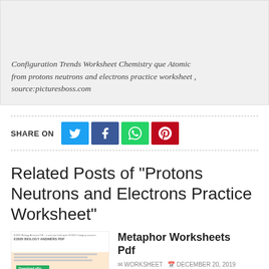Configuration Trends Worksheet Chemistry que Atomic from protons neutrons and electrons practice worksheet , source:picturesboss.com
SHARE ON
Related Posts of "Protons Neutrons and Electrons Practice Worksheet"
[Figure (screenshot): Thumbnail of E2020 Biology Answers PDF worksheet page with green download button]
Metaphor Worksheets Pdf
WORKSHEET DECEMBER 20, 2019